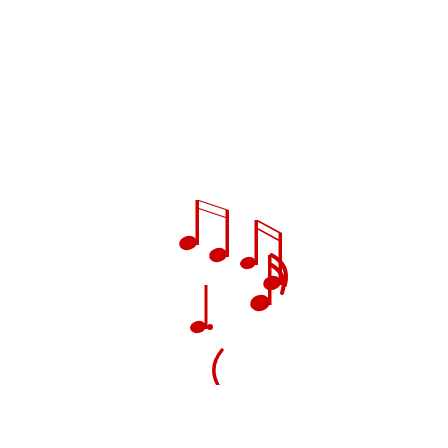[Figure (illustration): Red music notes (beamed eighth notes and quarter notes) scattered in a floating arrangement, with a small red curved parenthesis-like symbol below them, all on a white background.]